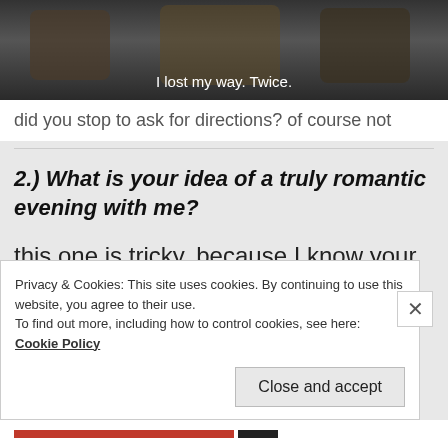[Figure (photo): Dark photograph of people, with white subtitle text 'I lost my way. Twice.' overlaid at the bottom]
did you stop to ask for directions? of course not
2.) What is your idea of a truly romantic evening with me?
this one is tricky, because I know your limits. if we go out, the same thing
Privacy & Cookies: This site uses cookies. By continuing to use this website, you agree to their use.
To find out more, including how to control cookies, see here: Cookie Policy
Close and accept